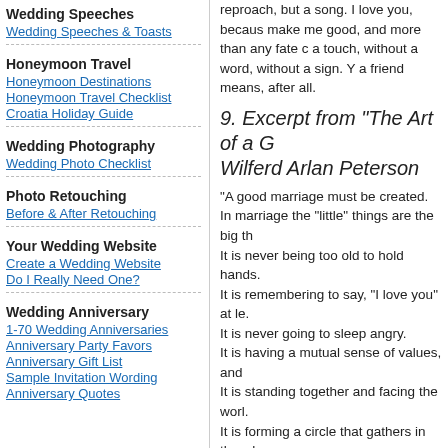Wedding Speeches
Wedding Speeches & Toasts
Honeymoon Travel
Honeymoon Destinations
Honeymoon Travel Checklist
Croatia Holiday Guide
Wedding Photography
Wedding Photo Checklist
Photo Retouching
Before & After Retouching
Your Wedding Website
Create a Wedding Website
Do I Really Need One?
Wedding Anniversary
1-70 Wedding Anniversaries
Anniversary Party Favors
Anniversary Gift List
Sample Invitation Wording
Anniversary Quotes
reproach, but a song. I love you, because make me good, and more than any fate co a touch, without a word, without a sign. Yo a friend means, after all.
9. Excerpt from "The Art of a G Wilferd Arlan Peterson
"A good marriage must be created. In marriage the "little" things are the big th It is never being too old to hold hands. It is remembering to say, "I love you" at le. It is never going to sleep angry. It is having a mutual sense of values, and It is standing together and facing the worl. It is forming a circle that gathers in the wh. It is speaking words of appreciation, and d It is having the capacity to forgive and forg. It is giving each other an atmosphere in w It is a common search for the good and th. It is not only marrying the right person -- it
10. "Time In A Bottle" Jim Cro
If I could save time in a bottle, the first thi away, just to spend them with you. If I cou true; I'd save every day like a treasure an for wishes, and dreams that had never co